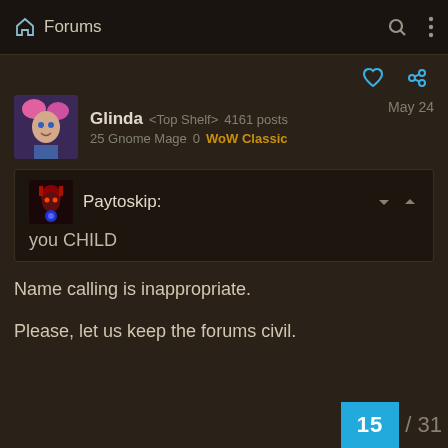Forums
Glinda <Top Shelf> 4161 posts
25 Gnome Mage   0  WoW Classic
May 24
Paytoskip:
you CHILD
Name calling is inappropriate.

Please, let us keep the forums civil.
15 / 31